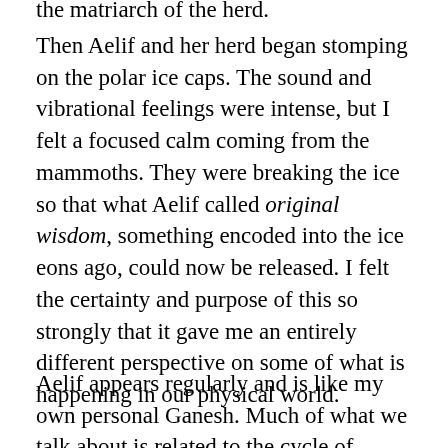the matriarch of the herd.
Then Aelif and her herd began stomping on the polar ice caps. The sound and vibrational feelings were intense, but I felt a focused calm coming from the mammoths. They were breaking the ice so that what Aelif called original wisdom, something encoded into the ice eons ago, could now be released. I felt the certainty and purpose of this so strongly that it gave me an entirely different perspective on some of what is happening in our physical world.
Aelif appears regularly and is like my own personal Ganesh. Much of what we talk about is related to the cycle of destruction